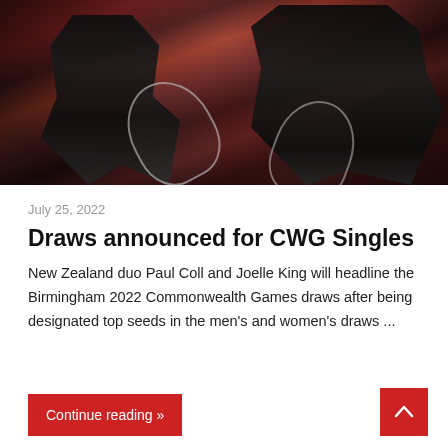[Figure (photo): Two squash players in black outfits playing on a court, with a crowd visible in the background. A woman on the left and a man on the right, both holding squash rackets.]
July 25, 2022
Draws announced for CWG Singles
New Zealand duo Paul Coll and Joelle King will headline the Birmingham 2022 Commonwealth Games draws after being designated top seeds in the men's and women's draws ...
Continue reading »